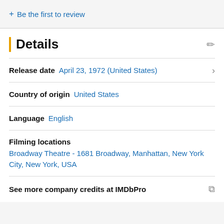+ Be the first to review
Details
Release date  April 23, 1972 (United States)
Country of origin  United States
Language  English
Filming locations
Broadway Theatre - 1681 Broadway, Manhattan, New York City, New York, USA
See more company credits at IMDbPro